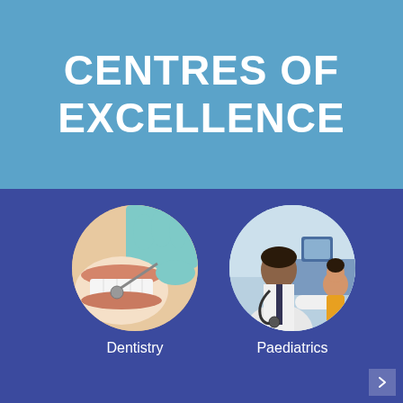CENTRES OF EXCELLENCE
[Figure (illustration): Two circular photos side by side on dark blue background. Left circle shows a dental procedure — a patient's open mouth with dental tool and gloved hand visible. Right circle shows a paediatrician — a male doctor in white shirt with stethoscope examining a child.]
Dentistry
Paediatrics